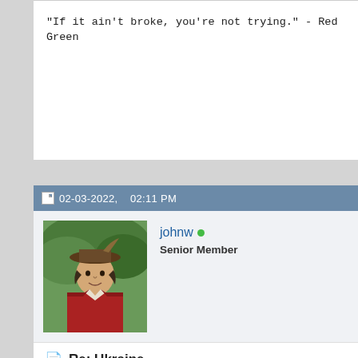"If it ain't broke, you're not trying." - Red Green
02-03-2022, 02:11 PM
johnw
Senior Member
Re: Ukraine
By the way, I think Putin has hinted how he might back down. He h him into war. All he has to say now is, I'm not falling for that.
On the trailing edge of technology.
https://www.amazon.com/Outlaw-John-L.../dp/B07LC6Y934
http://www.scribd.com/johnmwatkins/documents
http://booksellersvsbestsellers.blogspot.com/